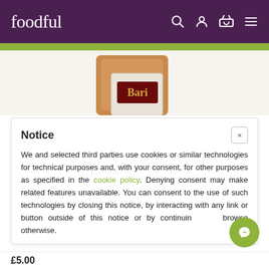foodful
[Figure (photo): Product photo area showing a brown paper bag and a white packet with 'Bari' branding on a light cream background]
Notice
We and selected third parties use cookies or similar technologies for technical purposes and, with your consent, for other purposes as specified in the cookie policy. Denying consent may make related features unavailable. You can consent to the use of such technologies by closing this notice, by interacting with any link or button outside of this notice or by continuing to browse otherwise.
£5.00